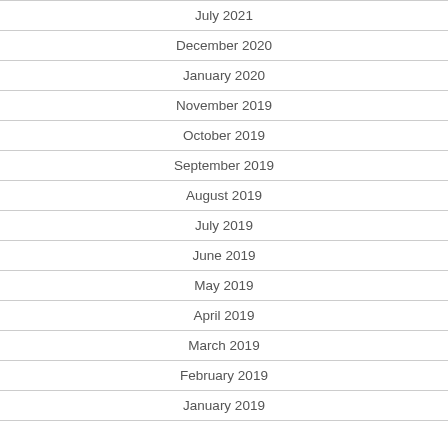| July 2021 |
| December 2020 |
| January 2020 |
| November 2019 |
| October 2019 |
| September 2019 |
| August 2019 |
| July 2019 |
| June 2019 |
| May 2019 |
| April 2019 |
| March 2019 |
| February 2019 |
| January 2019 |